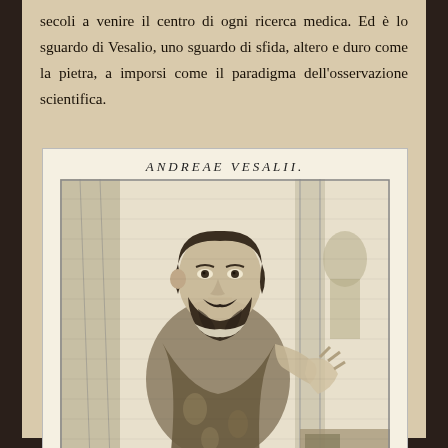secoli a venire il centro di ogni ricerca medica. Ed è lo sguardo di Vesalio, uno sguardo di sfida, altero e duro come la pietra, a imporsi come il paradigma dell'osservazione scientifica.
[Figure (illustration): Historical engraving portrait of Andreas Vesalius (Andreae Vesalii), showing him standing, bearded, holding a dissected arm, with architectural elements in the background. Title text 'ANDREAE VESALII' appears above the portrait in italic lettering.]